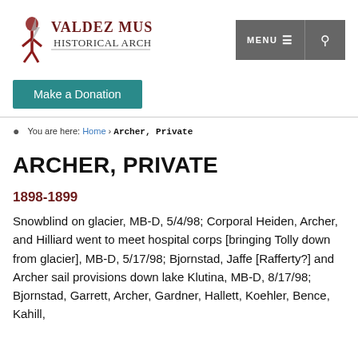[Figure (logo): Valdez Museum Historical Archive logo with stylized figure and text]
[Figure (screenshot): Navigation bar with MENU and search (magnifying glass) buttons on gray background]
Make a Donation
You are here: Home › Archer, Private
ARCHER, PRIVATE
1898-1899
Snowblind on glacier, MB-D, 5/4/98; Corporal Heiden, Archer, and Hilliard went to meet hospital corps [bringing Tolly down from glacier], MB-D, 5/17/98; Bjornstad, Jaffe [Rafferty?] and Archer sail provisions down lake Klutina, MB-D, 8/17/98; Bjornstad, Garrett, Archer, Gardner, Hallett, Koehler, Bence, Kahill,